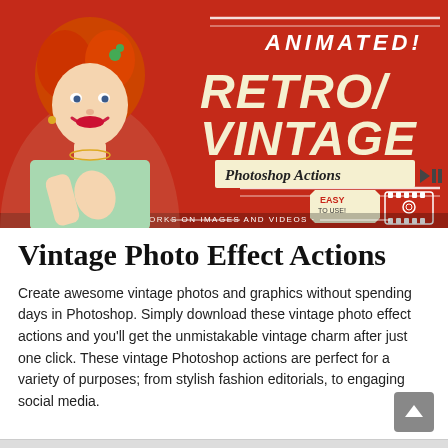[Figure (illustration): Promotional banner for Animated Retro/Vintage Photoshop Actions. Red background with a retro-styled woman with red hair giving a thumbs up. Text reads 'ANIMATED! RETRO/VINTAGE Photoshop Actions' with 'EASY TO USE!' badge and film strip icon, and 'WORKS ON IMAGES AND VIDEOS' at the bottom.]
Vintage Photo Effect Actions
Create awesome vintage photos and graphics without spending days in Photoshop. Simply download these vintage photo effect actions and you'll get the unmistakable vintage charm after just one click. These vintage Photoshop actions are perfect for a variety of purposes; from stylish fashion editorials, to engaging social media.